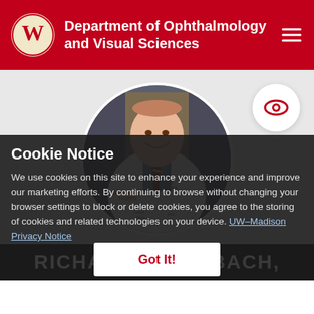Department of Ophthalmology and Visual Sciences
[Figure (photo): Circular profile photo of a smiling man in a white lab coat covered with written messages including 'GO Princeton TIGERS' and 'I Love Laura', wearing a striped tie]
[Figure (logo): Eye icon logo in red and white circle]
Cookie Notice
We use cookies on this site to enhance your experience and improve our marketing efforts. By continuing to browse without changing your browser settings to block or delete cookies, you agree to the storing of cookies and related technologies on your device. UW–Madison Privacy Notice
RICHARD     RTZBACH,